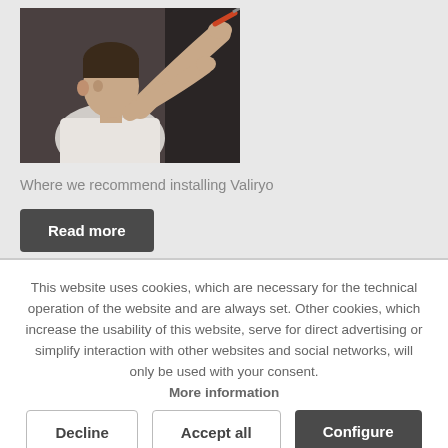[Figure (photo): A man using a screwdriver to install something on a wall or door, close-up shot from side angle]
Where we recommend installing Valiryo
Read more
This website uses cookies, which are necessary for the technical operation of the website and are always set. Other cookies, which increase the usability of this website, serve for direct advertising or simplify interaction with other websites and social networks, will only be used with your consent. More information
Decline
Accept all
Configure